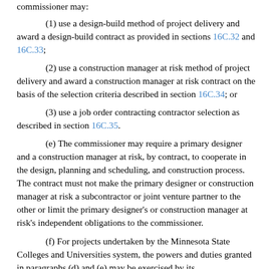commissioner may:
(1) use a design-build method of project delivery and award a design-build contract as provided in sections 16C.32 and 16C.33;
(2) use a construction manager at risk method of project delivery and award a construction manager at risk contract on the basis of the selection criteria described in section 16C.34; or
(3) use a job order contracting contractor selection as described in section 16C.35.
(e) The commissioner may require a primary designer and a construction manager at risk, by contract, to cooperate in the design, planning and scheduling, and construction process. The contract must not make the primary designer or construction manager at risk a subcontractor or joint venture partner to the other or limit the primary designer's or construction manager at risk's independent obligations to the commissioner.
(f) For projects undertaken by the Minnesota State Colleges and Universities system, the powers and duties granted in paragraphs (d) and (e) may be exercised by its